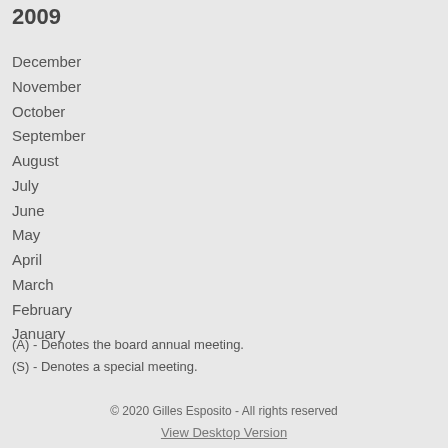2009
December
November
October
September
August
July
June
May
April
March
February
January
(A) - Denotes the board annual meeting.
(S) - Denotes a special meeting.
© 2020 Gilles Esposito - All rights reserved
View Desktop Version